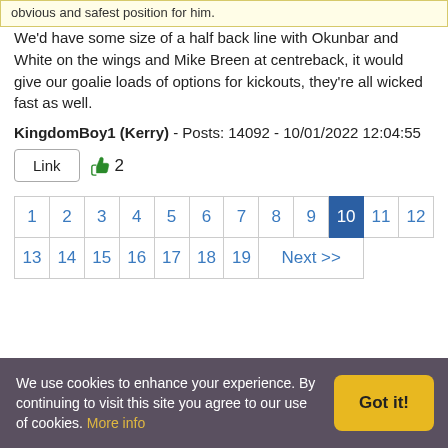obvious and safest position for him.
We'd have some size of a half back line with Okunbar and White on the wings and Mike Breen at centreback, it would give our goalie loads of options for kickouts, they're all wicked fast as well.
KingdomBoy1 (Kerry) - Posts: 14092 - 10/01/2022 12:04:55
Link 👍2
| 1 | 2 | 3 | 4 | 5 | 6 | 7 | 8 | 9 | 10 | 11 | 12 | 13 | 14 | 15 | 16 | 17 | 18 | 19 | Next >> |
| --- | --- | --- | --- | --- | --- | --- | --- | --- | --- | --- | --- | --- | --- | --- | --- | --- | --- | --- | --- |
We use cookies to enhance your experience. By continuing to visit this site you agree to our use of cookies. More info